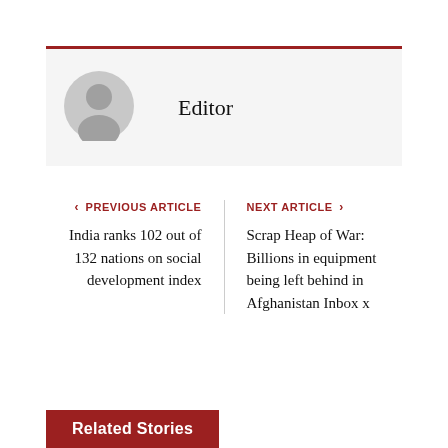[Figure (illustration): Author avatar placeholder: grey circle with silhouette of a person]
Editor
< PREVIOUS ARTICLE
India ranks 102 out of 132 nations on social development index
NEXT ARTICLE >
Scrap Heap of War: Billions in equipment being left behind in Afghanistan Inbox x
Related Stories